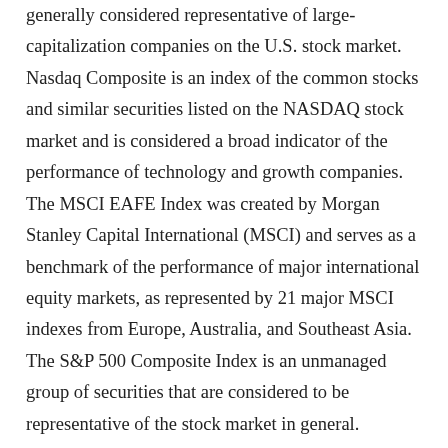generally considered representative of large-capitalization companies on the U.S. stock market. Nasdaq Composite is an index of the common stocks and similar securities listed on the NASDAQ stock market and is considered a broad indicator of the performance of technology and growth companies. The MSCI EAFE Index was created by Morgan Stanley Capital International (MSCI) and serves as a benchmark of the performance of major international equity markets, as represented by 21 major MSCI indexes from Europe, Australia, and Southeast Asia. The S&P 500 Composite Index is an unmanaged group of securities that are considered to be representative of the stock market in general.
U.S. Treasury Notes are guaranteed by the federal government as to the timely payment of principal and interest. However, if you sell a Treasury Note prior to maturity, it may be worth more or less than the original price paid. Fixed income investments are subject to various